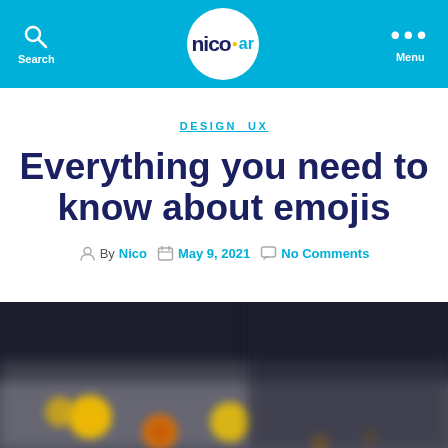nico.ar — Search | Menu
DESIGN  UX
Everything you need to know about emojis
By Nico  May 9, 2021  No Comments
[Figure (photo): Blurred close-up photo of yellow emoji stickers on a surface]